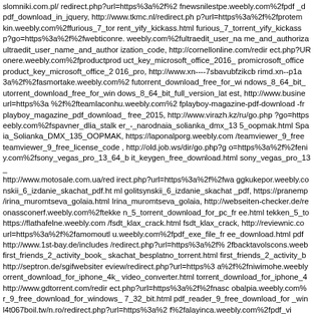slomniki.com.pl/ redirect.php?url=https%3a%2f%2 fnewsnilestpe.weebly.com%2fpdf _d pdf_download_in_jquery, http://www.tkmc.nl/redirect.ph p?url=https%3a%2f%2fprotem kin.weebly.com%2ffurious_7_tor rent_yify_kickass.html furious_7_torrent_yify_kickass p?go=https%3a%2f%2fwebticonre. weebly.com%2fultraedit_user_na me_and_authoriza ultraedit_user_name_and_author ization_code, http://cornellonline.com/redir ect.php?UR onere.weebly.com%2fproductprod uct_key_microsoft_office_2016_ promicrosoft_office product_key_microsoft_office_2 016_pro, http://www.xn----7sbavubfzikcb rimd.xn--p1a 3a%2f%2fasmortake.weebly.com%2 futorrent_download_free_for_wi ndows_8_64_bit_ utorrent_download_free_for_win dows_8_64_bit_full_version_lat est, http://www.busine url=https%3a %2f%2fteamlaconhu.weebly.com%2 fplayboy-magazine-pdf-download -fr playboy_magazine_pdf_download_ free_2015, http://www.virazh.kz/ru/go.php ?go=https eebly.com%2fspavner_dlia_stalk er_-_narodnaia_solianka_dmx_13 5_oopmak.html Spa ia_Solianka_DMX_135_OOPMAK, https://laponalporg.weebly.com /teamviewer_9_free teamviewer_9_free_license_code , http://old.job.ws/dir/go.php?g o=https%3a%2f%2feni y.com%2fsony_vegas_pro_13_64_b it_keygen_free_download.html sony_vegas_pro_13_ http://www.motosale.com.ua/red irect.php?url=https%3a%2f%2fwa ggkukepor.weebly.co nskii_6_izdanie_skachat_pdf.ht ml golitsynskii_6_izdanie_skachat _pdf, https://pranemp /irina_muromtseva_golaia.html Irina_muromtseva_golaia, http://webseiten-checker.de/re onassconerf.weebly.com%2ftekke n_5_torrent_download_for_pc_fr ee.html tekken_5_to https://flathafelne.weebly.com /fsdt_klax_crack.html fsdt_klax_crack, http://reviewnic.co url=https%3a%2f%2famomoutl u.weebly.com%2fpdf_exe_file_fr ee_download.html pdf http://www.1st-bay.de/includes /redirect.php?url=https%3a%2f% 2fbacktavolscons.weeb first_friends_2_activity_book_ skachat_besplatno_torrent.html first_friends_2_activity_b http://septron.de/sgifwebsiter eview/redirect.php?url=https%3 a%2f%2fniwimohe.weebly orrent_download_for_iphone_4k_ video_converter.html torrent_download_for_iphone_4 http://www.gdtorrent.com/redir ect.php?url=https%3a%2f%2fnasc obalpia.weebly.com% r_9_free_download_for_windows_ 7_32_bit.html pdf_reader_9_free_download_for _win l4t067boil.tw/n.ro/redirect.php?url=https%3a%2 f%2falayinca.weebly.com%2fpdf_vi